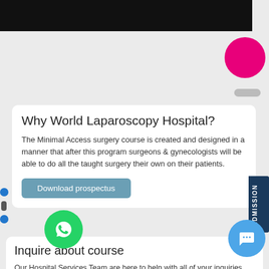[Figure (screenshot): Top dark/black video or image strip]
Why World Laparoscopy Hospital?
The Minimal Access surgery course is created and designed in a manner that after this program surgeons & gynecologists will be able to do all the taught surgery their own on their patients.
Download prospectus
Inquire about course
Our Hospital Services Team are here to help with all of your inquiries during institute opening hours. If you have a question, no matter how big or small, and it is outside of opening hours use the email below and we do our best to get back to you as soon as possible.
Tel: +919811416832
Email: contact@laparoscopyhospital.com